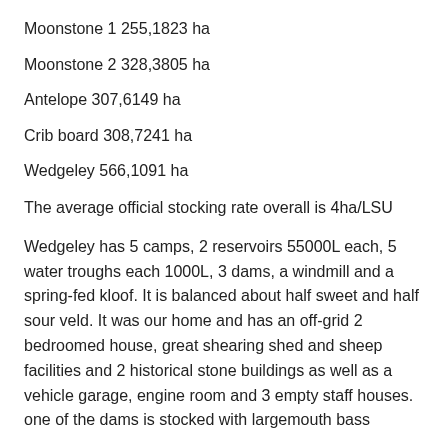Moonstone 1 255,1823 ha
Moonstone 2 328,3805 ha
Antelope 307,6149 ha
Crib board 308,7241 ha
Wedgeley 566,1091 ha
The average official stocking rate overall is 4ha/LSU
Wedgeley has 5 camps, 2 reservoirs 55000L each, 5 water troughs each 1000L, 3 dams, a windmill and a spring-fed kloof. It is balanced about half sweet and half sour veld. It was our home and has an off-grid 2 bedroomed house, great shearing shed and sheep facilities and 2 historical stone buildings as well as a vehicle garage, engine room and 3 empty staff houses. one of the dams is stocked with largemouth bass
Crib board has 2 camps, 2x1000L water troughs and a very